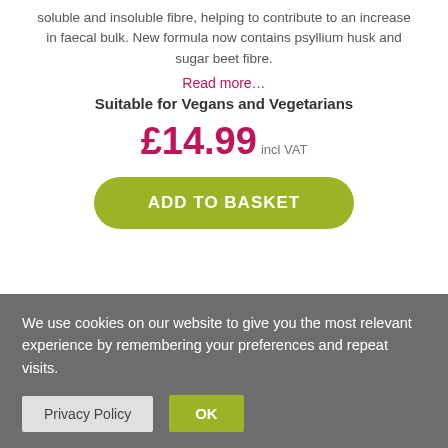soluble and insoluble fibre, helping to contribute to an increase in faecal bulk. New formula now contains psyllium husk and sugar beet fibre.
Read more…
Suitable for Vegans and Vegetarians
£14.99 incl VAT
ADD TO BASKET
[Figure (illustration): Partial view of a white product container/bowl at the bottom of the page]
We use cookies on our website to give you the most relevant experience by remembering your preferences and repeat visits.
Privacy Policy
OK